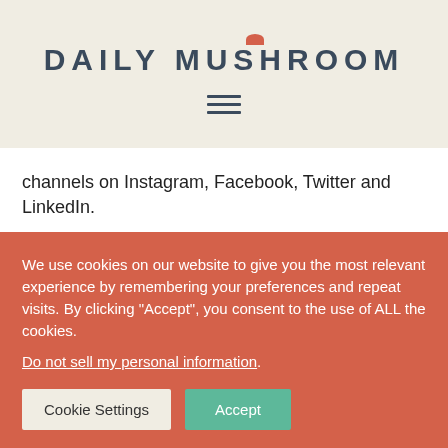DAILY MUSHROOM
channels on Instagram, Facebook, Twitter and LinkedIn.
Media Inquiries
Investor Inquiries
We use cookies on our website to give you the most relevant experience by remembering your preferences and repeat visits. By clicking "Accept", you consent to the use of ALL the cookies. Do not sell my personal information.
Cookie Settings
Accept